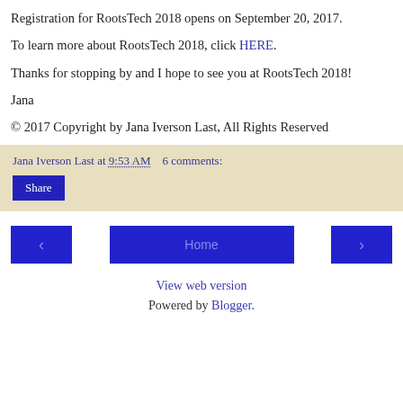Registration for RootsTech 2018 opens on September 20, 2017.
To learn more about RootsTech 2018, click HERE.
Thanks for stopping by and I hope to see you at RootsTech 2018!
Jana
© 2017 Copyright by Jana Iverson Last, All Rights Reserved
Jana Iverson Last at 9:53 AM   6 comments:
Share
← Home →
View web version
Powered by Blogger.